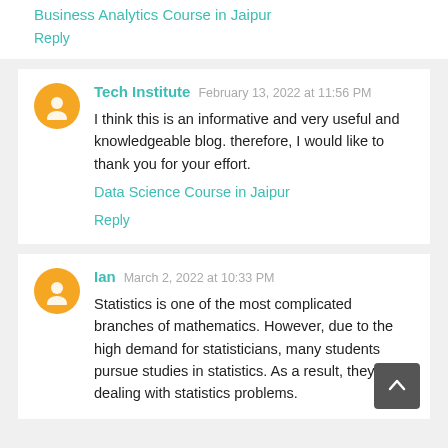Business Analytics Course in Jaipur
Reply
Tech Institute  February 13, 2022 at 11:56 PM
I think this is an informative and very useful and knowledgeable blog. therefore, I would like to thank you for your effort.
Data Science Course in Jaipur
Reply
Ian  March 2, 2022 at 10:33 PM
Statistics is one of the most complicated branches of mathematics. However, due to the high demand for statisticians, many students pursue studies in statistics. As a result, they are dealing with statistics problems.